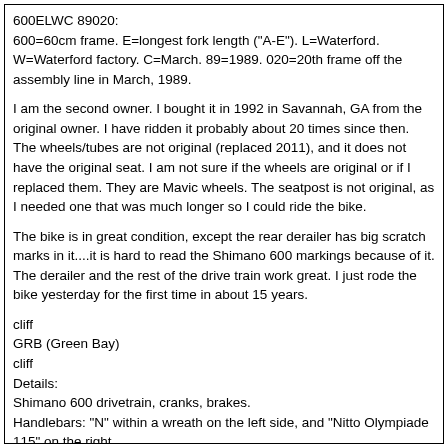600ELWC 89020:
600=60cm frame. E=longest fork length ("A-E"). L=Waterford. W=Waterford factory. C=March. 89=1989. 020=20th frame off the assembly line in March, 1989.
I am the second owner. I bought it in 1992 in Savannah, GA from the original owner. I have ridden it probably about 20 times since then. The wheels/tubes are not original (replaced 2011), and it does not have the original seat. I am not sure if the wheels are original or if I replaced them. They are Mavic wheels. The seatpost is not original, as I needed one that was much longer so I could ride the bike.
The bike is in great condition, except the rear derailer has big scratch marks in it....it is hard to read the Shimano 600 markings because of it. The derailer and the rest of the drive train work great. I just rode the bike yesterday for the first time in about 15 years.
cliff
GRB (Green Bay)
cliff
Details:
Shimano 600 drivetrain, cranks, brakes.
Handlebars: "N" within a wreath on the left side, and "Nitto Olympiade 115" on the right.
"Technomic" handlebar stem.
Shimano 105 shifters.
The chainstay protector says "Minoura".
Mavic Open 4CD wheels.
(new tires)Kenda 700x23C...125 psi.